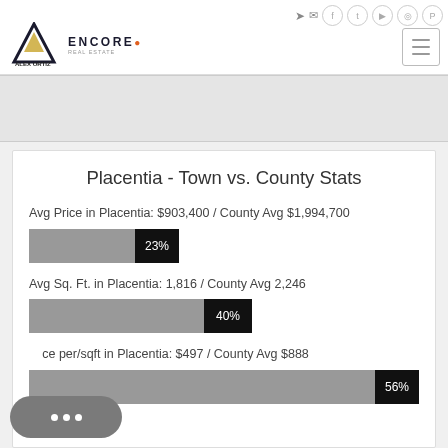[Figure (logo): Alex Ortiz / Encore Real Estate logo with navigation icons]
Placentia - Town vs. County Stats
Avg Price in Placentia: $903,400 / County Avg $1,994,700
[Figure (bar-chart): Avg Price comparison]
Avg Sq. Ft. in Placentia: 1,816 / County Avg 2,246
[Figure (bar-chart): Avg Sq Ft comparison]
Avg Price per/sqft in Placentia: $497 / County Avg $888
[Figure (bar-chart): Avg Price per sqft comparison]